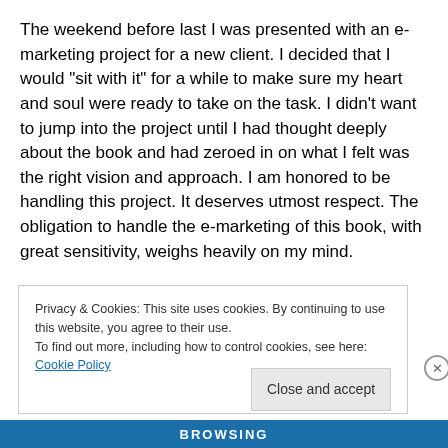The weekend before last I was presented with an e-marketing project for a new client. I decided that I would “sit with it” for a while to make sure my heart and soul were ready to take on the task. I didn’t want to jump into the project until I had thought deeply about the book and had zeroed in on what I felt was the right vision and approach. I am honored to be handling this project. It deserves utmost respect. The obligation to handle the e-marketing of this book, with great sensitivity, weighs heavily on my mind.
Privacy & Cookies: This site uses cookies. By continuing to use this website, you agree to their use. To find out more, including how to control cookies, see here: Cookie Policy